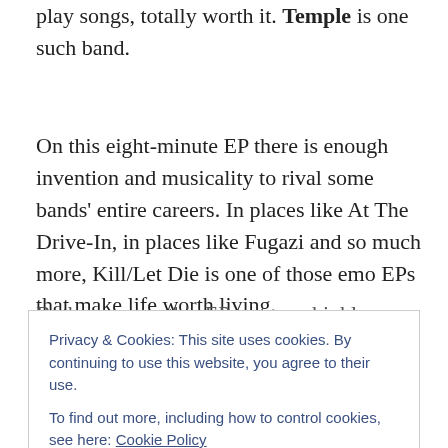play songs, totally worth it. Temple is one such band.
On this eight-minute EP there is enough invention and musicality to rival some bands' entire careers. In places like At The Drive-In, in places like Fugazi and so much more, Kill/Let Die is one of those emo EPs that make life worth living.
Both songs on this EP are very highly constructed slices of
Privacy & Cookies: This site uses cookies. By continuing to use this website, you agree to their use. To find out more, including how to control cookies, see here: Cookie Policy
again.